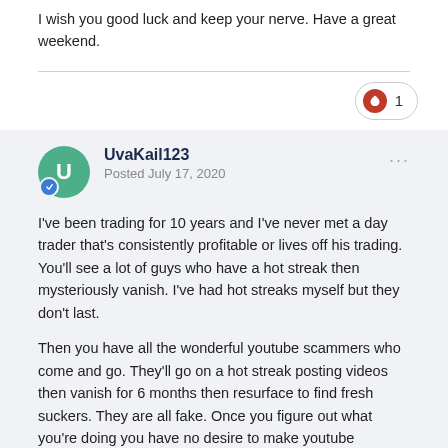One's own emotions and panic are the real enemy.
I wish you good luck and keep your nerve. Have a great weekend.
UvaKail123
Posted July 17, 2020
I've been trading for 10 years and I've never met a day trader that's consistently profitable or lives off his trading.  You'll see a lot of guys who have a hot streak then mysteriously vanish.  I've had hot streaks myself but they don't last.
Then you have all the wonderful youtube scammers who come and go.  They'll go on a hot streak posting videos then vanish for 6 months then resurface to find fresh suckers.  They are all fake.  Once you figure out what you're doing you have no desire to make youtube